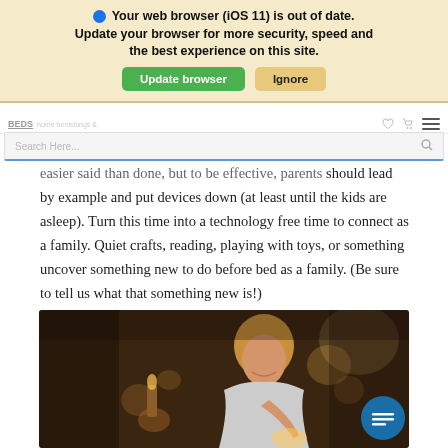[Figure (screenshot): Browser update notification banner overlaying a website. Banner reads: 'Your web browser (iOS 11) is out of date. Update your browser for more security, speed and the best experience on this site.' with a green 'Update browser' button and a tan 'Ignore' button.]
[Figure (screenshot): Website navigation bar with logo 'BEDS' and home furnishings text, heart icon, cart icon, and menu icon.]
Search Here...
easier said than done, but to be effective, parents should lead by example and put devices down (at least until the kids are asleep). Turn this time into a technology free time to connect as a family. Quiet crafts, reading, playing with toys, or something uncover something new to do before bed as a family. (Be sure to tell us what that something new is!)
[Figure (photo): A smiling woman with her hair up, seen in warm dim lighting, looking down at something she is holding. Background shows bokeh lights suggesting a festive or cozy home setting.]